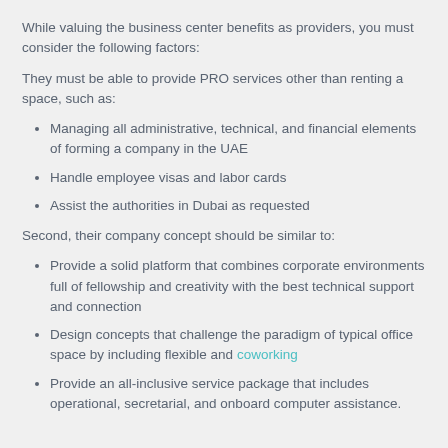While valuing the business center benefits as providers, you must consider the following factors:
They must be able to provide PRO services other than renting a space, such as:
Managing all administrative, technical, and financial elements of forming a company in the UAE
Handle employee visas and labor cards
Assist the authorities in Dubai as requested
Second, their company concept should be similar to:
Provide a solid platform that combines corporate environments full of fellowship and creativity with the best technical support and connection
Design concepts that challenge the paradigm of typical office space by including flexible and coworking
Provide an all-inclusive service package that includes operational, secretarial, and onboard computer assistance.